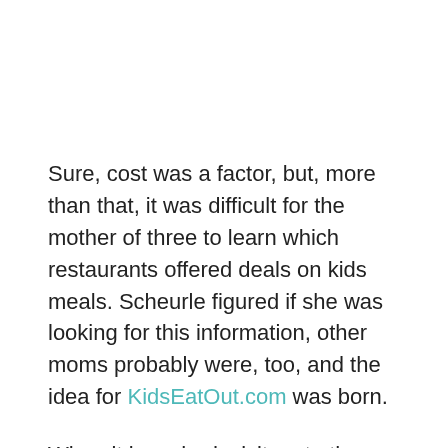Sure, cost was a factor, but, more than that, it was difficult for the mother of three to learn which restaurants offered deals on kids meals. Scheurle figured if she was looking for this information, other moms probably were, too, and the idea for KidsEatOut.com was born.
When it launched, visitors to the website could learn not only which Columbus area restaurants have days when kids eat free, but also whether there are age restrictions or purchase requirements.
"From there it expanded to include reviews of all kinds of